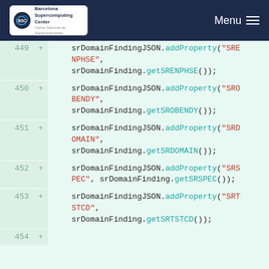Barcelona Supercomputing Center - Menu
[Figure (screenshot): Code diff view showing lines 449-454 with srDomainFindingJSON.addProperty calls for SRENPHSE, SROBENDY, SRDOMAIN, SRSPEC, SRTSTCD fields]
449 + srDomainFindingJSON.addProperty("SRENPHSE", srDomainFinding.getSRENPHSE());
450 + srDomainFindingJSON.addProperty("SROBENDY", srDomainFinding.getSROBENDY());
451 + srDomainFindingJSON.addProperty("SRDOMAIN", srDomainFinding.getSRDOMAIN());
452 + srDomainFindingJSON.addProperty("SRSPEC", srDomainFinding.getSRSPEC());
453 + srDomainFindingJSON.addProperty("SRTSTCD", srDomainFinding.getSRTSTCD());
454 +